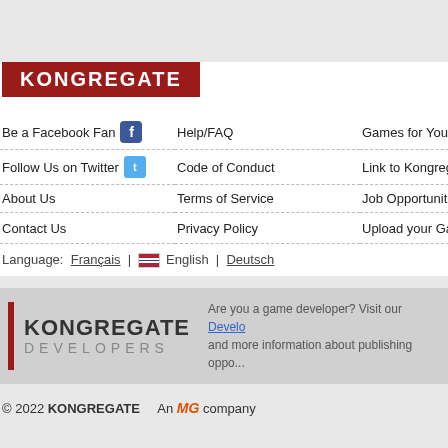[Figure (logo): Kongregate logo - white text on dark red background]
Be a Facebook Fan
Help/FAQ
Games for Your Site
Follow Us on Twitter
Code of Conduct
Link to Kongregate
About Us
Terms of Service
Job Opportunities
Contact Us
Privacy Policy
Upload your Game
Language: Français | English | Deutsch
[Figure (logo): Kongregate Developers logo with red bar accent]
Are you a game developer? Visit our Developer Portal and more information about publishing oppo...
© 2022 KONGREGATE  An MG company